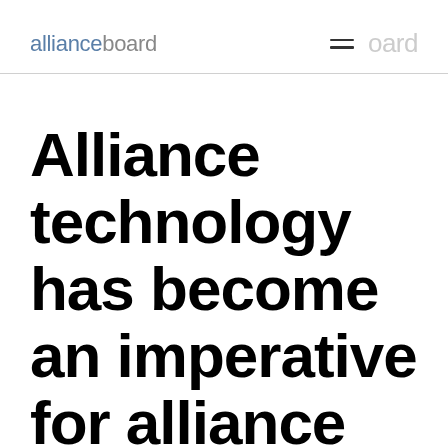allianceboard
Alliance technology has become an imperative for alliance